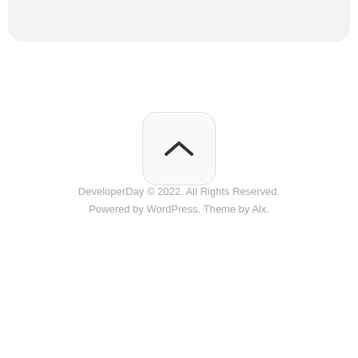[Figure (other): Top rounded gray bar representing a browser or app UI element]
[Figure (other): Scroll-to-top button: white rounded square with an upward chevron icon]
DeveloperDay © 2022. All Rights Reserved. Powered by WordPress. Theme by Alx.